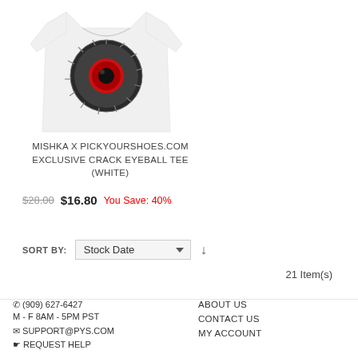[Figure (photo): White t-shirt with a large cracked eyeball graphic on the front, featuring a red iris with black pupil and grey cracked texture radiating outward on a black circular background.]
MISHKA X PICKYOURSHOES.COM EXCLUSIVE CRACK EYEBALL TEE (WHITE)
$28.00  $16.80  You Save: 40%
SORT BY: Stock Date  21 Item(s)
(909) 627-6427  M - F 8AM - 5PM PST  SUPPORT@PYS.COM  REQUEST HELP  ABOUT US  CONTACT US  MY ACCOUNT